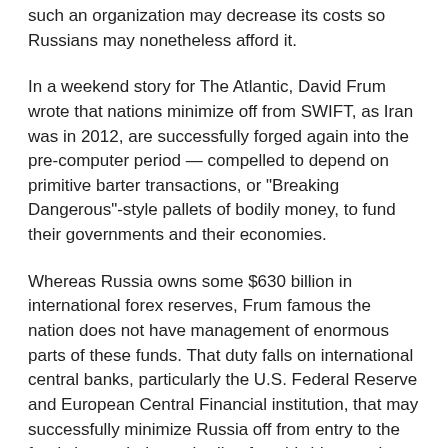such an organization may decrease its costs so Russians may nonetheless afford it.
In a weekend story for The Atlantic, David Frum wrote that nations minimize off from SWIFT, as Iran was in 2012, are successfully forged again into the pre-computer period — compelled to depend on primitive barter transactions, or "Breaking Dangerous"-style pallets of bodily money, to fund their governments and their economies.
Whereas Russia owns some $630 billion in international forex reserves, Frum famous the nation does not have management of enormous parts of these funds. That duty falls on international central banks, particularly the U.S. Federal Reserve and European Central Financial institution, that may successfully minimize Russia off from entry to the funds beneath the umbrella of worldwide sanctions.
Frum wrote that the Federal Reserve or European Central financial institution may say, "Nope. Sorry. The Russian